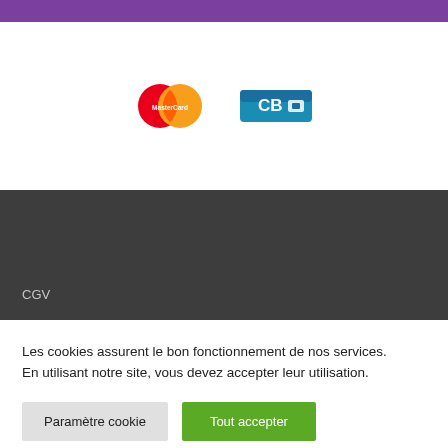[Figure (logo): MasterCard logo (overlapping red and orange circles with MasterCard text) and a blue/teal card association logo side by side]
CGV
Les cookies assurent le bon fonctionnement de nos services. En utilisant notre site, vous devez accepter leur utilisation.
Paramètre cookie
Tout accepter